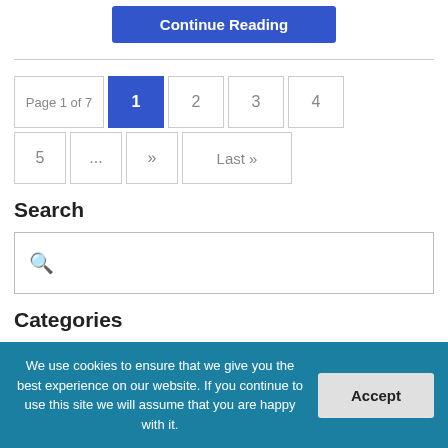Continue Reading
Page 1 of 7  1  2  3  4  5  ...  »  Last »
Search
Categories
Anxiety
We use cookies to ensure that we give you the best experience on our website. If you continue to use this site we will assume that you are happy with it.